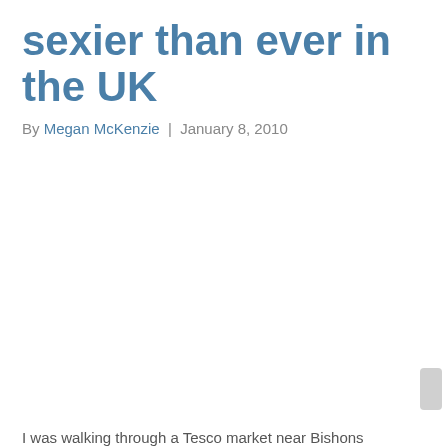sexier than ever in the UK
By Megan McKenzie | January 8, 2010
I was walking through a Tesco market near Bishons